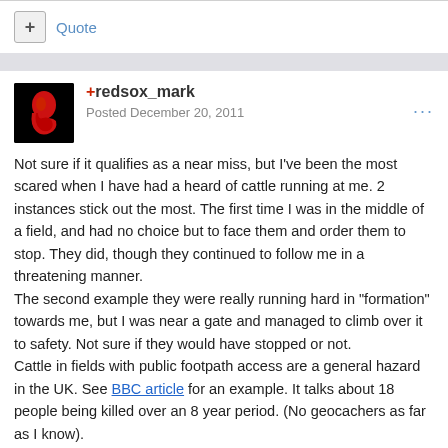+ Quote
+redsox_mark
Posted December 20, 2011
Not sure if it qualifies as a near miss, but I've been the most scared when I have had a heard of cattle running at me. 2 instances stick out the most. The first time I was in the middle of a field, and had no choice but to face them and order them to stop. They did, though they continued to follow me in a threatening manner.
The second example they were really running hard in "formation" towards me, but I was near a gate and managed to climb over it to safety. Not sure if they would have stopped or not.
Cattle in fields with public footpath access are a general hazard in the UK. See BBC article for an example. It talks about 18 people being killed over an 8 year period. (No geocachers as far as I know).

It doesn't stop me going into fields with cattle. But - I will avoid them if I
[Figure (photo): Boston Red Sox logo avatar — red sock on black background]